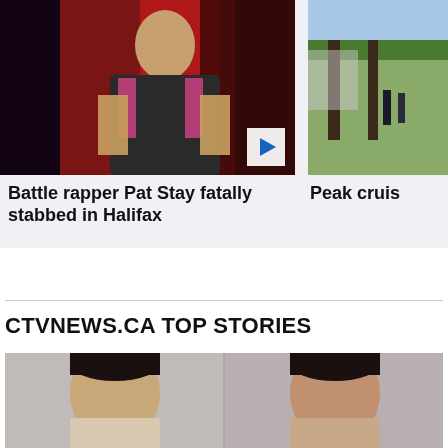[Figure (photo): Photo of battle rapper Pat Stay, a bald tattooed man wearing a black and pink jersey, with red lighting in background]
[Figure (photo): Photo partially visible showing people near trees in an outdoor setting, partially cropped]
Battle rapper Pat Stay fatally stabbed in Halifax
Peak cruis
CTVNEWS.CA TOP STORIES
[Figure (photo): Police mugshot style photo showing two men side by side]